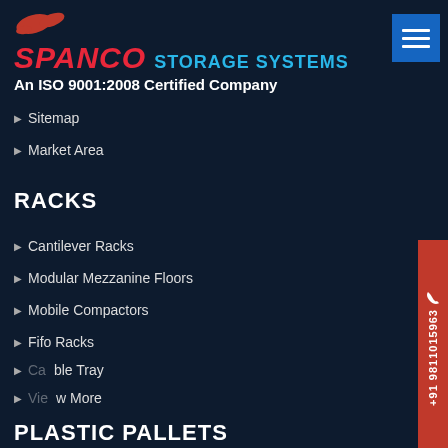SPANCO STORAGE SYSTEMS - An ISO 9001:2008 Certified Company
Sitemap
Market Area
RACKS
Cantilever Racks
Modular Mezzanine Floors
Mobile Compactors
Fifo Racks
Cable Tray
View More
PLASTIC PALLETS
Plain Top Pallets
Anti Skid Plastic Pallets
Perforated Plastic Pallets